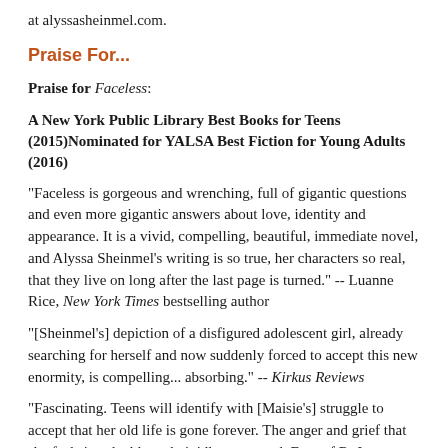at alyssasheinmel.com.
Praise For...
Praise for Faceless:
A New York Public Library Best Books for Teens (2015)Nominated for YALSA Best Fiction for Young Adults (2016)
"Faceless is gorgeous and wrenching, full of gigantic questions and even more gigantic answers about love, identity and appearance. It is a vivid, compelling, beautiful, immediate novel, and Alyssa Sheinmel's writing is so true, her characters so real, that they live on long after the last page is turned." -- Luanne Rice, New York Times bestselling author
"[Sheinmel's] depiction of a disfigured adolescent girl, already searching for herself and now suddenly forced to accept this new enormity, is compelling... absorbing." -- Kirkus Reviews
"Fascinating. Teens will identify with [Maisie's] struggle to accept that her old life is gone forever. The anger and grief that she feels is palpable and vividly expressed. Fans of R. J. Palacio's Wonder will also enjoy this book and relate to its similar theme about how physical appearance does not define